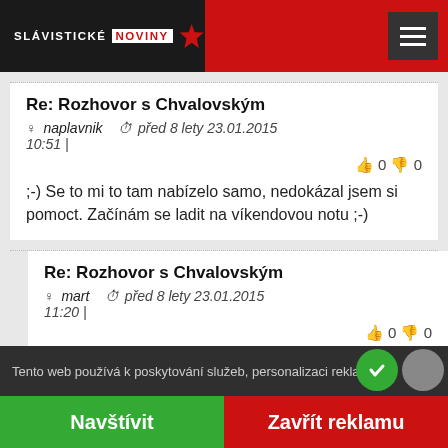[Figure (logo): Slávistické Noviny logo with red star on dark background, inside red header bar with hamburger menu button]
Re: Rozhovor s Chvalovským
naplavnik   před 8 lety 23.01.2015 10:51 |
👍 0 👎 0
;-) Se to mi to tam nabízelo samo, nedokázal jsem si pomoct. Začínám se ladit na víkendovou notu ;-)
Re: Rozhovor s Chvalovským
mart   před 8 lety 23.01.2015 11:20 |
👍 0 👎 0
:-D dobře!
Tento web používá k poskytování služeb, personalizaci reklam
Navštívit
Zavřít reklamu